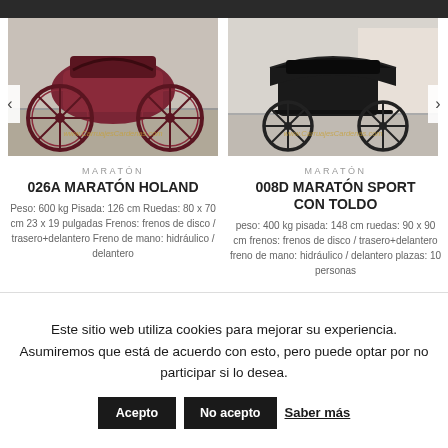[Figure (photo): Photo of a burgundy/red marathon carriage (026A Maratón Holand) with large spoked wheels, watermark www.CarruajesCardenas.com]
MARATÓN
026A MARATÓN HOLAND
Peso: 600 kg Pisada: 126 cm Ruedas: 80 x 70 cm 23 x 19 pulgadas Frenos: frenos de disco / trasero+delantero Freno de mano: hidráulico / delantero
[Figure (photo): Photo of a black marathon sport carriage with canopy (008D Maratón Sport con Toldo), watermark www.CarruajesCardenas.com]
MARATÓN
008D MARATÓN SPORT CON TOLDO
peso: 400 kg pisada: 148 cm ruedas: 90 x 90 cm frenos: frenos de disco / trasero+delantero freno de mano: hidráulico / delantero plazas: 10 personas
Este sitio web utiliza cookies para mejorar su experiencia. Asumiremos que está de acuerdo con esto, pero puede optar por no participar si lo desea.
Acepto
No acepto
Saber más